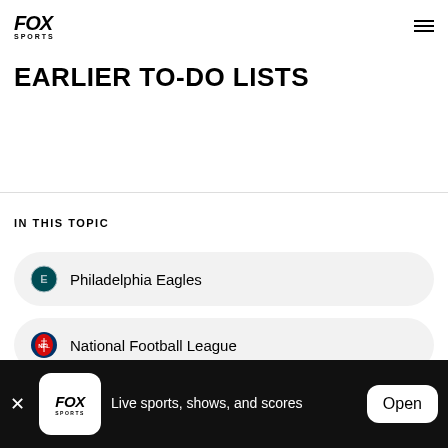FOX SPORTS (logo) | hamburger menu
EARLIER TO-DO LISTS
IN THIS TOPIC
Philadelphia Eagles
National Football League
Live sports, shows, and scores — Open